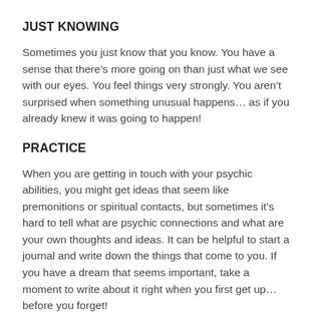JUST KNOWING
Sometimes you just know that you know. You have a sense that there’s more going on than just what we see with our eyes. You feel things very strongly. You aren’t surprised when something unusual happens… as if you already knew it was going to happen!
PRACTICE
When you are getting in touch with your psychic abilities, you might get ideas that seem like premonitions or spiritual contacts, but sometimes it’s hard to tell what are psychic connections and what are your own thoughts and ideas. It can be helpful to start a journal and write down the things that come to you. If you have a dream that seems important, take a moment to write about it right when you first get up…before you forget!